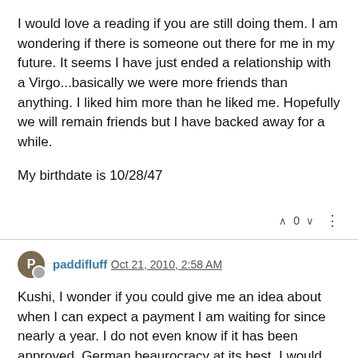I would love a reading if you are still doing them. I am wondering if there is someone out there for me in my future. It seems I have just ended a relationship with a Virgo...basically we were more friends than anything. I liked him more than he liked me. Hopefully we will remain friends but I have backed away for a while.

My birthdate is 10/28/47
paddifluff Oct 21, 2010, 2:58 AM

Kushi, I wonder if you could give me an idea about when I can expect a payment I am waiting for since nearly a year. I do not even know if it has been approved, German beaurocracy at its best. I would be thankful if you have any opinion on that, I can take the good with the bad news lol.